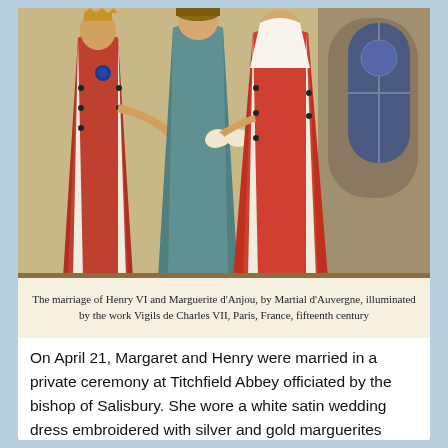[Figure (illustration): Medieval illuminated manuscript illustration depicting the marriage of Henry VI and Marguerite d'Anjou. Figures in elaborate robes and crowns are shown in a ceremony. Below the illustration is calligraphic text in red: 'Comment la fille de cealle fut marce au roy Dangleterre. Et alors le roy de cealle.' The style is 15th century French illuminated manuscript.]
The marriage of Henry VI and Marguerite d'Anjou, by Martial d'Auvergne, illuminated by the work Vigils de Charles VII, Paris, France, fifteenth century
On April 21, Margaret and Henry were married in a private ceremony at Titchfield Abbey officiated by the bishop of Salisbury. She wore a white satin wedding dress embroidered with silver and gold marguerites (daisies). She traveled from the area of